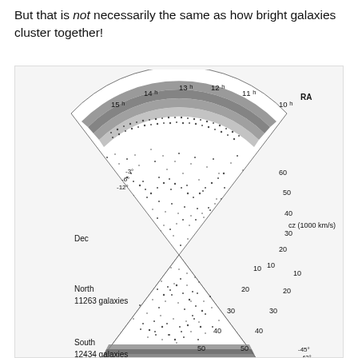But that is not necessarily the same as how bright galaxies cluster together!
[Figure (continuous-plot): Redshift survey cone diagram showing galaxy distribution. North slice (fan/wedge shape at top) labeled 'North' with 11263 galaxies, RA labels 10h-15h, Dec declination bands marked at -3°, -6°, -12°, radial axis labeled cz (1000 km/s) from 10 to 60. South wedge (inverted triangle at bottom) labeled 'South' with 12434 galaxies, radial axis 10-60, dec labels -45°, -42°. Dense band of galaxies visible at outer arcs (Great Wall). Dots represent individual galaxies.]